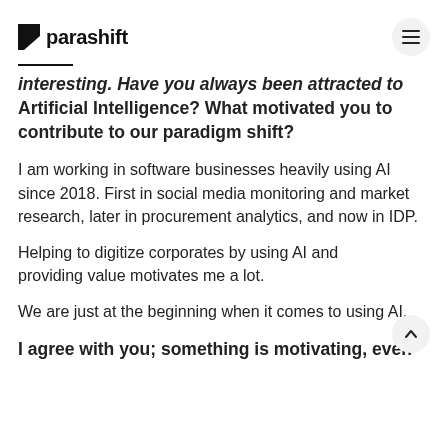parashift
interesting. Have you always been attracted to Artificial Intelligence? What motivated you to contribute to our paradigm shift?
I am working in software businesses heavily using AI since 2018. First in social media monitoring and market research, later in procurement analytics, and now in IDP.
Helping to digitize corporates by using AI and providing value motivates me a lot.
We are just at the beginning when it comes to using AI.
I agree with you; something is motivating, even